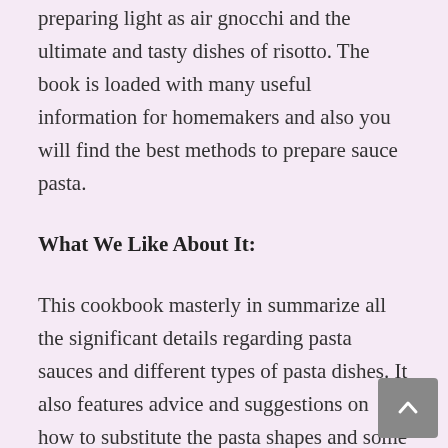preparing light as air gnocchi and the ultimate and tasty dishes of risotto. The book is loaded with many useful information for homemakers and also you will find the best methods to prepare sauce pasta.
What We Like About It:
This cookbook masterly in summarize all the significant details regarding pasta sauces and different types of pasta dishes. It also features advice and suggestions on how to substitute the pasta shapes and some of the advance preparation and storage notes for the users. The cookbook also comprises of in-depth